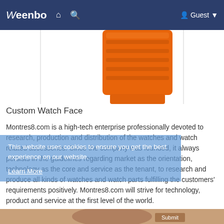Weenbo  🏠  🔍  Guest ▼
[Figure (photo): Cropped photo of an orange watch showing the clasp/strap area against a white background]
Custom Watch Face
Montres8.com is a high-tech enterprise professionally devoted to research, production and distribution of the watches and watch related accessories. Since the company was founded, it always persists in the guidelines regarding market as the orientation, technology as the core and service as the tenant, to research and produce all kinds of watches and watch parts fulfilling the customers' requirements positively. Montres8.com will strive for technology, product and service at the first level of the world.
This website uses cookies to ensure you get the best experience on our website.
Learn More
[Figure (photo): Partially visible brown/tan watch at the bottom of the page]